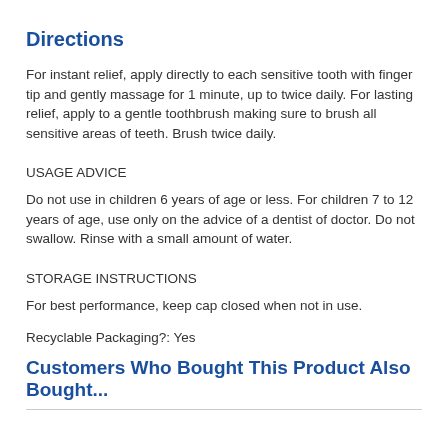Directions
For instant relief, apply directly to each sensitive tooth with finger tip and gently massage for 1 minute, up to twice daily. For lasting relief, apply to a gentle toothbrush making sure to brush all sensitive areas of teeth. Brush twice daily.
USAGE ADVICE
Do not use in children 6 years of age or less. For children 7 to 12 years of age, use only on the advice of a dentist of doctor. Do not swallow. Rinse with a small amount of water.
STORAGE INSTRUCTIONS
For best performance, keep cap closed when not in use.
Recyclable Packaging?: Yes
Customers Who Bought This Product Also Bought...